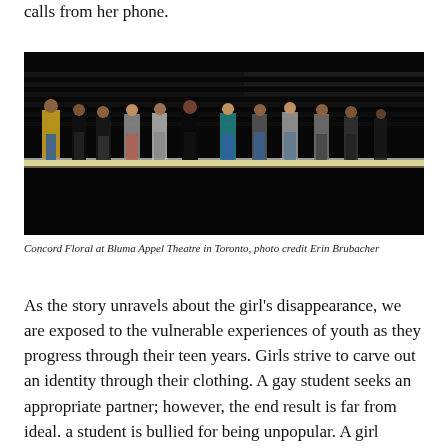calls from her phone.
[Figure (photo): Group of young people standing on a dark stage with a bright horizontal light strip along the floor. Theater production photo of Concord Floral at Bluma Appel Theatre in Toronto.]
Concord Floral at Bluma Appel Theatre in Toronto, photo credit Erin Brubacher
As the story unravels about the girl's disappearance, we are exposed to the vulnerable experiences of youth as they progress through their teen years. Girls strive to carve out an identity through their clothing. A gay student seeks an appropriate partner; however, the end result is far from ideal. a student is bullied for being unpopular. A girl fantasizes about her classmates while masturbating. Regular teenage